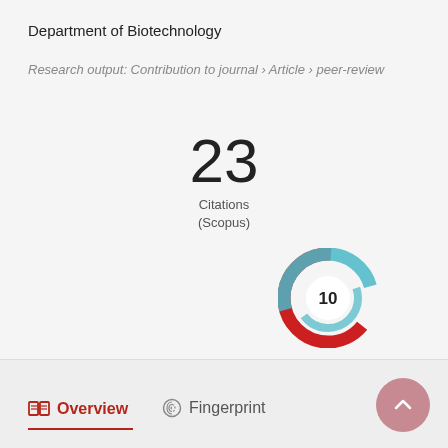Department of Biotechnology
Research output: Contribution to journal › Article › peer-review
23
Citations
(Scopus)
[Figure (infographic): Altmetric donut badge showing score of 10, with teal and red swirling ring around a white circle containing the number 10]
Overview
Fingerprint